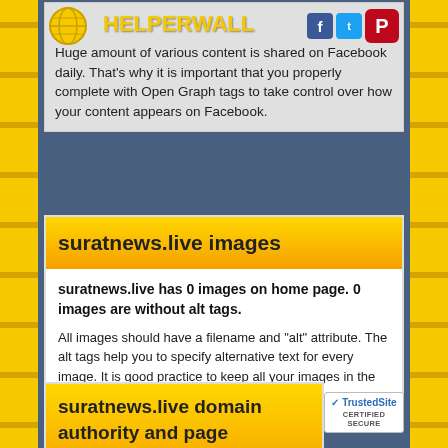[Figure (logo): Helperwall logo with globe icon and text 'HELPERWALL' in yellow, with Facebook, Twitter and Pinterest social icons]
Huge amount of various content is shared on Facebook daily. That's why it is important that you properly complete with Open Graph tags to take control over how your content appears on Facebook.
suratnews.live images
suratnews.live has 0 images on home page. 0 images are without alt tags.
All images should have a filename and "alt" attribute. The alt tags help you to specify alternative text for every image. It is good practice to keep all your images in the same website directory.
suratnews.live domain authority and page authority
[Figure (logo): TrustedSite certified secure badge]